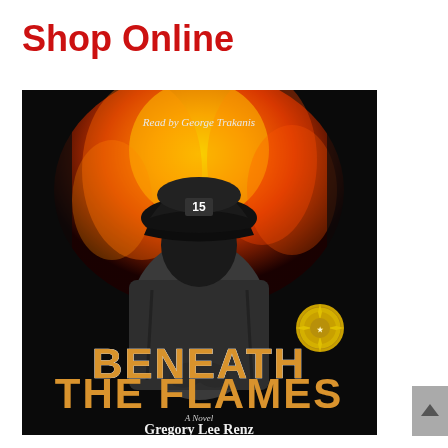Shop Online
[Figure (photo): Audiobook cover for 'Beneath the Flames' by Gregory Lee Renz, read by George Trakanis. Features a firefighter in a black helmet numbered 15 against a fiery orange background, with bold gold and white title text and an award medallion badge.]